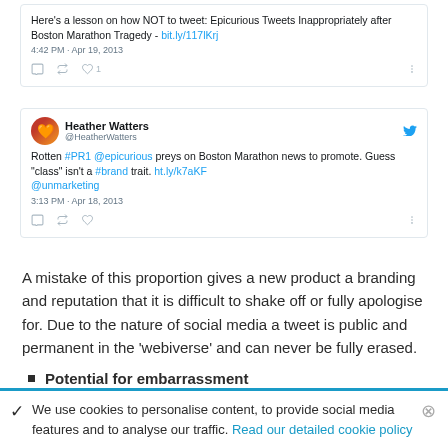[Figure (screenshot): First tweet card: 'Here's a lesson on how NOT to tweet: Epicurious Tweets Inappropriately after Boston Marathon Tragedy - bit.ly/117lKrj', 4:42 PM · Apr 19, 2013, with reply/retweet/like icons (1 like)]
[Figure (screenshot): Second tweet card from Heather Watters (@HeatherWatters): 'Rotten #PR1 @epicurious preys on Boston Marathon news to promote. Guess "class" isn't a #brand trait. ht.ly/k7aKF @unmarketing', 3:13 PM · Apr 18, 2013]
A mistake of this proportion gives a new product a branding and reputation that it is difficult to shake off or fully apologise for. Due to the nature of social media a tweet is public and permanent in the 'webiverse' and can never be fully erased.
Potential for embarrassment
Embarrassment for a company is another risk if their social media account is poorly managed or maintained. Disgruntled
We use cookies to personalise content, to provide social media features and to analyse our traffic. Read our detailed cookie policy